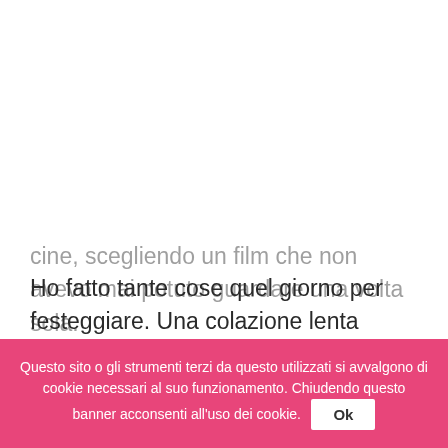Ho fatto tante cose quel giorno per festeggiare. Una colazione lenta all'aperto, delle lunghe passeggiate, un pranzo in un parco, al sacco, una visita ad un museo e un
cine, scegliendo un film che non avevo mai potuto guardare una volta sola.
Questo sito o gli strumenti terzi da questo utilizzati si avvalgono di cookie necessari al suo funzionamento. Chiudendo questo banner acconsenti all'uso dei cookie.